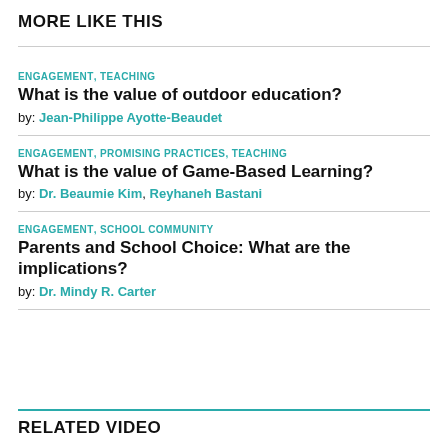MORE LIKE THIS
ENGAGEMENT, TEACHING
What is the value of outdoor education?
by: Jean-Philippe Ayotte-Beaudet
ENGAGEMENT, PROMISING PRACTICES, TEACHING
What is the value of Game-Based Learning?
by: Dr. Beaumie Kim, Reyhaneh Bastani
ENGAGEMENT, SCHOOL COMMUNITY
Parents and School Choice: What are the implications?
by: Dr. Mindy R. Carter
RELATED VIDEO